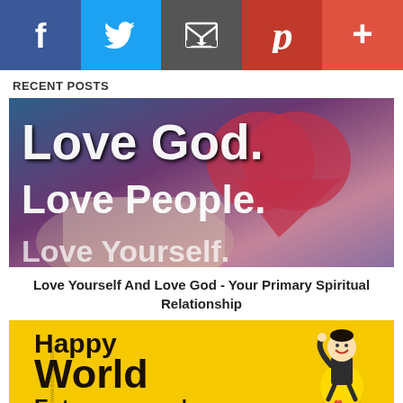[Figure (other): Social media sharing bar with Facebook (blue), Twitter (light blue), Email (dark gray), Pinterest (dark red), and Plus/More (red-orange) buttons]
RECENT POSTS
[Figure (photo): Image with text 'Love God. Love People. Love Yourself.' overlaid on a blurred background with a hand holding a red heart and blue/purple tones]
Love Yourself And Love God - Your Primary Spiritual Relationship
[Figure (photo): Yellow promotional image with text 'Happy World Entrepreneurs'' and a cartoon businessman character with a lightbulb, watermark reading 'www.eaolatoye.com']